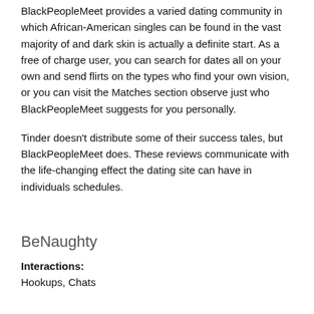BlackPeopleMeet provides a varied dating community in which African-American singles can be found in the vast majority of and dark skin is actually a definite start. As a free of charge user, you can search for dates all on your own and send flirts on the types who find your own vision, or you can visit the Matches section observe just who BlackPeopleMeet suggests for you personally.
Tinder doesn't distribute some of their success tales, but BlackPeopleMeet does. These reviews communicate with the life-changing effect the dating site can have in individuals schedules.
BeNaughty
Interactions: Hookups, Chats